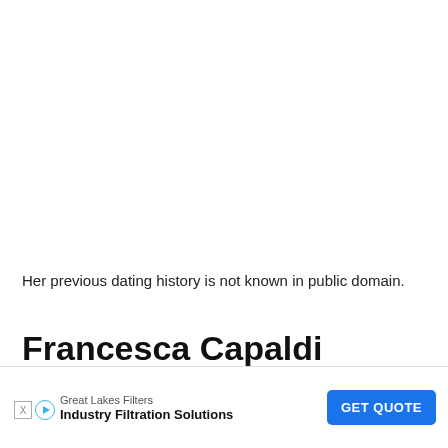Her previous dating history is not known in public domain.
Francesca Capaldi Wiki/Bio
|  |  |
| --- | --- |
[Figure (other): Advertisement banner: Great Lakes Filters - Industry Filtration Solutions with GET QUOTE button]